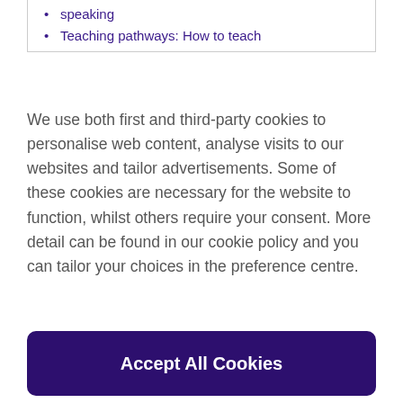speaking
Teaching pathways: How to teach
We use both first and third-party cookies to personalise web content, analyse visits to our websites and tailor advertisements. Some of these cookies are necessary for the website to function, whilst others require your consent. More detail can be found in our cookie policy and you can tailor your choices in the preference centre.
Accept All Cookies
Cookies Settings